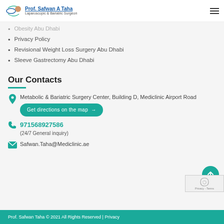Prof. Safwan A Taha – Laparoscopic & Bariatric Surgeon
Obesity Abu Dhabi
Privacy Policy
Revisional Weight Loss Surgery Abu Dhabi
Sleeve Gastrectomy Abu Dhabi
Our Contacts
Metabolic & Bariatric Surgery Center, Building D, Mediclinic Airport Road
Get directions on the map →
971568927586
(24/7 General inquiry)
Safwan.Taha@Mediclinic.ae
Prof. Safwan Taha © 2021 All Rights Reserved | Privacy